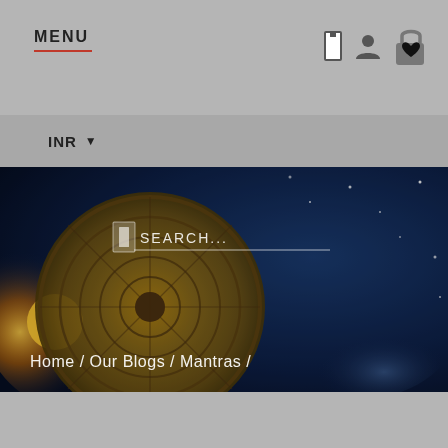MENU
INR ▼
[Figure (screenshot): Website screenshot showing a navigation header with MENU label, icons (search, user, heart/lock), INR currency selector, a hero banner image with an ancient stone calendar/astrology wheel on a cosmic blue background, a search bar overlay reading SEARCH..., and breadcrumb navigation: Home / Our Blogs / Mantras /]
Home  /  Our Blogs  /  Mantras  /